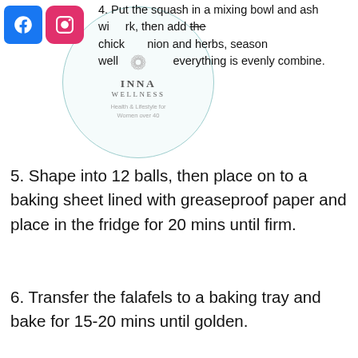[Figure (logo): Facebook logo blue square icon]
[Figure (logo): Instagram logo pink/magenta rounded square icon]
[Figure (illustration): Inna Wellness circular watermark with flower illustration, text reads INNA WELLNESS, Health & Lifestyle for Women over 40]
4. Put the squash in a mixing bowl and ash with fork, then add the chick nion and herbs, season well everything is evenly combine.
5. Shape into 12 balls, then place on to a baking sheet lined with greaseproof paper and place in the fridge for 20 mins until firm.
6. Transfer the falafels to a baking tray and bake for 15-20 mins until golden.
7. Serve with a generous leafy salad.
Recipes
[Figure (infographic): Share icons: Facebook share, Twitter/X share, LinkedIn share, link/copy share]